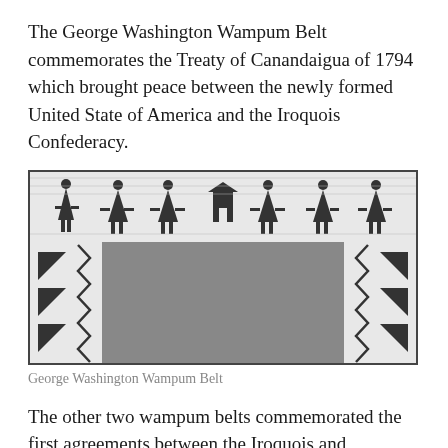The George Washington Wampum Belt commemorates the Treaty of Canandaigua of 1794 which brought peace between the newly formed United State of America and the Iroquois Confederacy.
[Figure (photo): Black and white photograph of the George Washington Wampum Belt, showing a rectangular belt with intricate beaded patterns including figures and geometric designs along the top and sides, with a dark central area.]
George Washington Wampum Belt
The other two wampum belts commemorated the first agreements between the Iroquois and European peoples